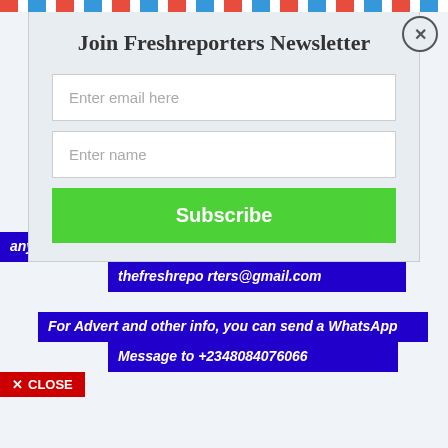Join Freshreporters Newsletter
Enter email here
Enter name
Subscribe
any other news worthy materials, please send a mail to thefreshrepo rters@gmail.com
For Advert and other info, you can send a WhatsApp Message to +2348084076066
✕ CLOSE